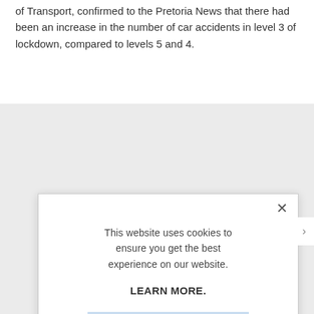of Transport, confirmed to the Pretoria News that there had been an increase in the number of car accidents in level 3 of lockdown, compared to levels 5 and 4.
[Figure (screenshot): Cookie consent modal dialog overlay on a webpage. The modal contains the text 'This website uses cookies to ensure you get the best experience on our website.' followed by a bold 'LEARN MORE.' link and an 'ACCEPT COOKIES' button with light blue background. A close (×) button is in the top-right corner of the modal.]